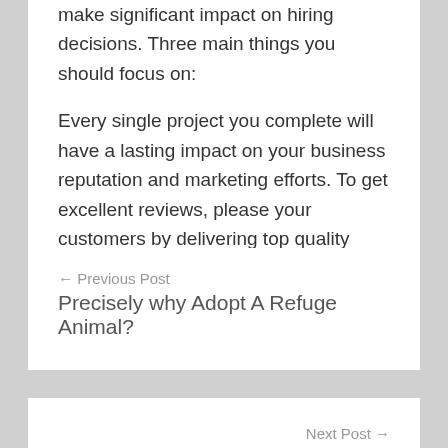make significant impact on hiring decisions. Three main things you should focus on:
Every single project you complete will have a lasting impact on your business reputation and marketing efforts. To get excellent reviews, please your customers by delivering top quality work. If anything goes wrong, you will get low ratings that will affect your marketing.
← Previous Post
Precisely why Adopt A Refuge Animal?
Next Post →